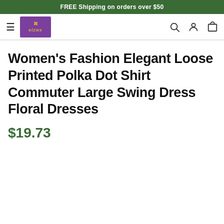FREE Shipping on orders over $50
[Figure (logo): Elzwx brand logo — purple rectangle with gold symbol and italic gold text 'elzwx']
Women's Fashion Elegant Loose Printed Polka Dot Shirt Commuter Large Swing Dress Floral Dresses
$19.73